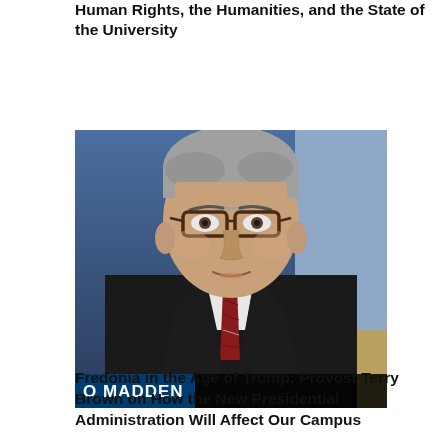Human Rights, the Humanities, and the State of the University
[Figure (photo): A man with grey hair and glasses wearing a dark suit and red striped tie, speaking or sitting at a panel. A lower-third chyron reads 'O MADDEN'. The background includes blue and tan tones.]
Fredonia in the Age of Trump: Provost Terry Brown on How the New Presidential Administration Will Affect Our Campus